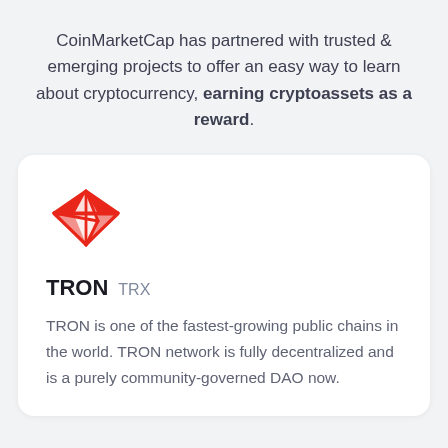CoinMarketCap has partnered with trusted & emerging projects to offer an easy way to learn about cryptocurrency, earning cryptoassets as a reward.
[Figure (logo): TRON logo — red geometric diamond/arrow shape made of triangular outlines]
TRON TRX
TRON is one of the fastest-growing public chains in the world. TRON network is fully decentralized and is a purely community-governed DAO now.